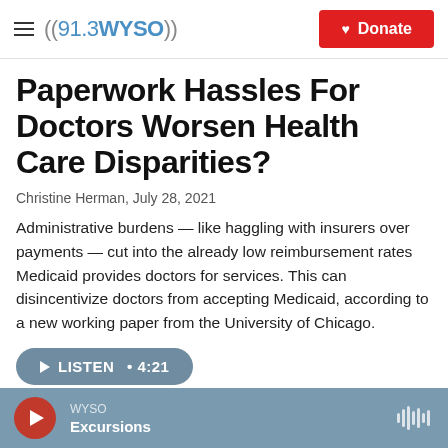((91.3 WYSO)) | Donate
Paperwork Hassles For Doctors Worsen Health Care Disparities?
Christine Herman,  July 28, 2021
Administrative burdens — like haggling with insurers over payments — cut into the already low reimbursement rates Medicaid provides doctors for services. This can disincentivize doctors from accepting Medicaid, according to a new working paper from the University of Chicago.
▶ LISTEN • 4:21
WYSO | Excursions